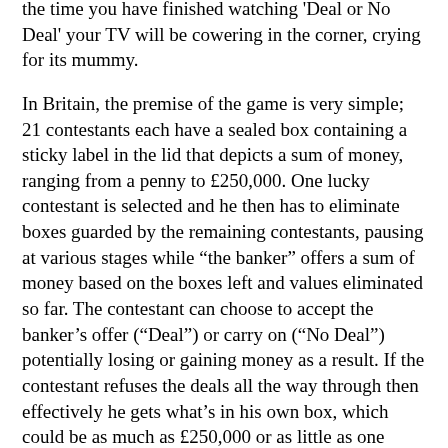the time you have finished watching 'Deal or No Deal' your TV will be cowering in the corner, crying for its mummy.
In Britain, the premise of the game is very simple; 21 contestants each have a sealed box containing a sticky label in the lid that depicts a sum of money, ranging from a penny to £250,000. One lucky contestant is selected and he then has to eliminate boxes guarded by the remaining contestants, pausing at various stages while “the banker” offers a sum of money based on the boxes left and values eliminated so far. The contestant can choose to accept the banker’s offer (“Deal”) or carry on (“No Deal”) potentially losing or gaining money as a result. If the contestant refuses the deals all the way through then effectively he gets what’s in his own box, which could be as much as £250,000 or as little as one penny.
Basically it is just a guessing game with a little bit of risk and a little bit of drama.
Incredibly this dreadful programme is shown in several countries. In Britain it is fronted by Noel Edmonds, who has